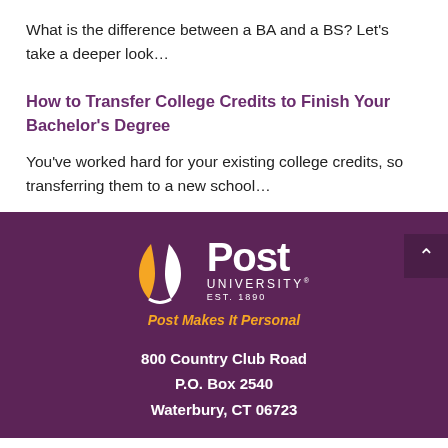What is the difference between a BA and a BS? Let's take a deeper look…
How to Transfer College Credits to Finish Your Bachelor's Degree
You've worked hard for your existing college credits, so transferring them to a new school…
[Figure (logo): Post University logo with orange icon, white Post University EST. 1890 text, and orange tagline 'Post Makes It Personal' on purple background]
800 Country Club Road
P.O. Box 2540
Waterbury, CT 06723